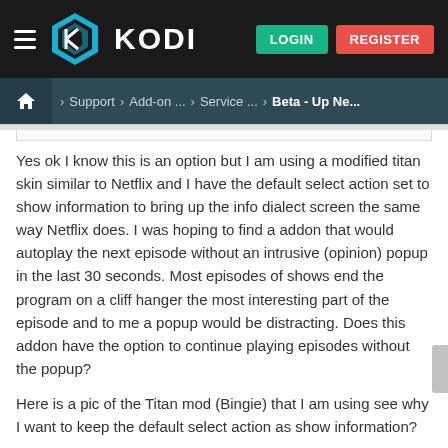KODI — LOGIN | REGISTER
Home > Support > Add-on ... > Service ... > Beta - Up Ne...
Yes ok I know this is an option but I am using a modified titan skin similar to Netflix and I have the default select action set to show information to bring up the info dialect screen the same way Netflix does. I was hoping to find a addon that would autoplay the next episode without an intrusive (opinion) popup in the last 30 seconds. Most episodes of shows end the program on a cliff hanger the most interesting part of the episode and to me a popup would be distracting. Does this addon have the option to continue playing episodes without the popup?
Here is a pic of the Titan mod (Bingie) that I am using see why I want to keep the default select action as show information?